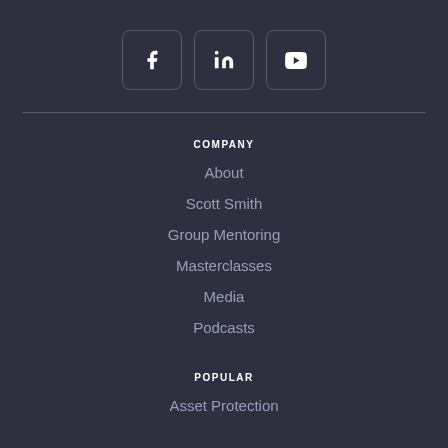[Figure (illustration): Three social media icon buttons in rounded square boxes: Facebook (f), LinkedIn (in), YouTube (play button)]
COMPANY
About
Scott Smith
Group Mentoring
Masterclasses
Media
Podcasts
POPULAR
Asset Protection